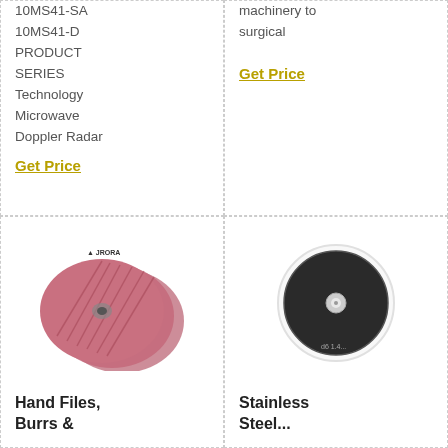10MS41-SA
10MS41-D
PRODUCT SERIES
Technology
Microwave Doppler Radar
Get Price
machinery to surgical
Get Price
[Figure (photo): Stack of red/pink abrasive flap discs with JRORA branding]
Hand Files, Burrs &
[Figure (photo): Black round grinding/cutting disc with silver center hub, white box]
Stainless Steel...